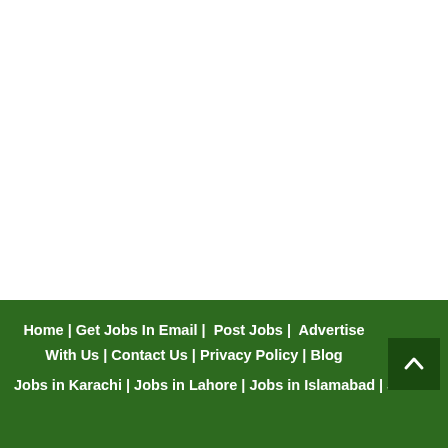Home | Get Jobs In Email |  Post Jobs |  Advertise With Us | Contact Us | Privacy Policy | Blog
Jobs in Karachi | Jobs in Lahore | Jobs in Islamabad | Jobs